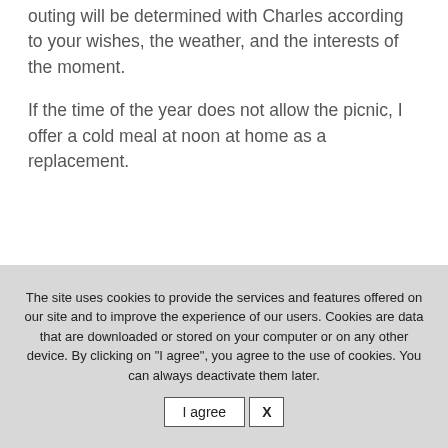outing will be determined with Charles according to your wishes, the weather, and the interests of the moment.
If the time of the year does not allow the picnic, I offer a cold meal at noon at home as a replacement.
The site uses cookies to provide the services and features offered on our site and to improve the experience of our users. Cookies are data that are downloaded or stored on your computer or on any other device. By clicking on "I agree", you agree to the use of cookies. You can always deactivate them later.